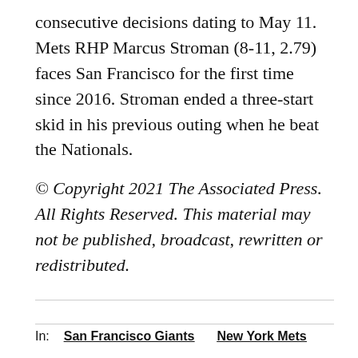consecutive decisions dating to May 11. Mets RHP Marcus Stroman (8-11, 2.79) faces San Francisco for the first time since 2016. Stroman ended a three-start skid in his previous outing when he beat the Nationals.
© Copyright 2021 The Associated Press. All Rights Reserved. This material may not be published, broadcast, rewritten or redistributed.
In: San Francisco Giants  New York Mets